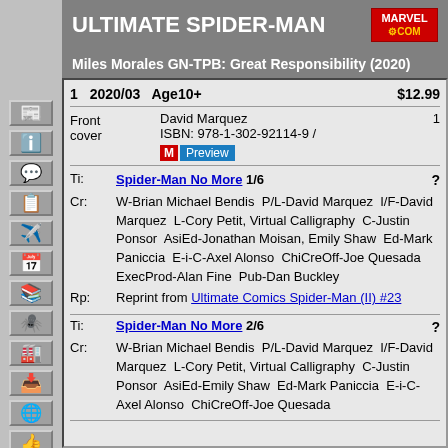ULTIMATE SPIDER-MAN
Miles Morales GN-TPB: Great Responsibility (2020)
| 1 | 2020/03 | Age10+ | $12.99 |
| Front cover | David Marquez | 1 |
| ISBN: 978-1-302-92114-9 / | M Preview |
| Ti: | Spider-Man No More 1/6 | ? |
| Cr: | W-Brian Michael Bendis  P/L-David Marquez  I/F-David Marquez  L-Cory Petit, Virtual Calligraphy  C-Justin Ponsor  AsiEd-Jonathan Moisan, Emily Shaw  Ed-Mark Paniccia  E-i-C-Axel Alonso  ChiCreOff-Joe Quesada  ExecProd-Alan Fine  Pub-Dan Buckley |
| Rp: | Reprint from Ultimate Comics Spider-Man (II) #23 |
| Ti: | Spider-Man No More 2/6 | ? |
| Cr: | W-Brian Michael Bendis  P/L-David Marquez  I/F-David Marquez  L-Cory Petit, Virtual Calligraphy  C-Justin Ponsor  AsiEd-Emily Shaw  Ed-Mark Paniccia  E-i-C-Axel Alonso  ChiCreOff-Joe Quesada |